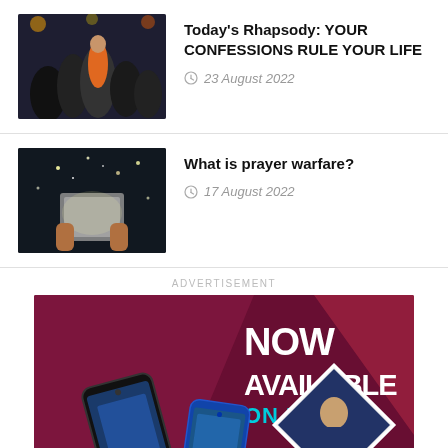[Figure (photo): Thumbnail image of people at a music or worship event]
Today's Rhapsody: YOUR CONFESSIONS RULE YOUR LIFE
23 August 2022
[Figure (photo): Thumbnail image of hands holding a glowing book in the dark]
What is prayer warfare?
17 August 2022
ADVERTISEMENT
[Figure (illustration): Advertisement banner: NOW AVAILABLE ON PCDL - Praying for the Nations Volume 2, Pastor Chris Digital Library, featuring smartphones and a pastor speaking]